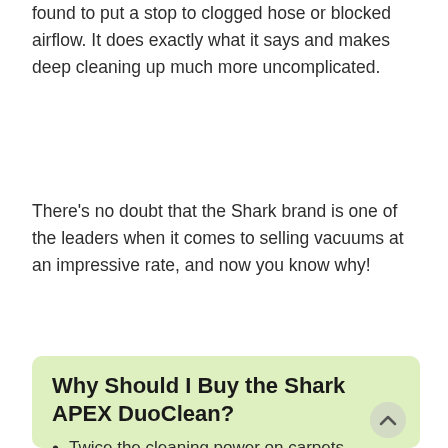found to put a stop to clogged hose or blocked airflow. It does exactly what it says and makes deep cleaning up much more uncomplicated.
There's no doubt that the Shark brand is one of the leaders when it comes to selling vacuums at an impressive rate, and now you know why!
Why Should I Buy the Shark APEX DuoClean?
Twice the cleaning power on carpets